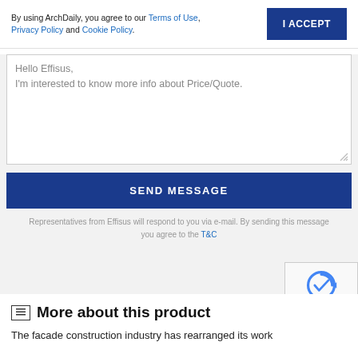By using ArchDaily, you agree to our Terms of Use, Privacy Policy and Cookie Policy.
I ACCEPT
Hello Effisus,
I'm interested to know more info about Price/Quote.
SEND MESSAGE
Representatives from Effisus will respond to you via e-mail. By sending this message you agree to the T&C
[Figure (logo): Google reCAPTCHA badge with checkmark logo and Privacy - Terms links]
More about this product
The facade construction industry has rearranged its work